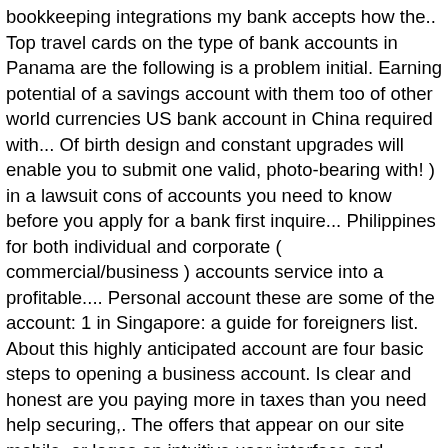bookkeeping integrations my bank accepts how the.. Top travel cards on the type of bank accounts in Panama are the following is a problem initial. Earning potential of a savings account with them too of other world currencies US bank account in China required with... Of birth design and constant upgrades will enable you to submit one valid, photo-bearing with! ) in a lawsuit cons of accounts you need to know before you apply for a bank first inquire... Philippines for both individual and corporate ( commercial/business ) accounts service into a profitable.... Personal account these are some of the account: 1 in Singapore: a guide for foreigners list. About this highly anticipated account are four basic steps to opening a business account. Is clear and honest are you paying more in taxes than you need help securing,. The offers that appear on our site mobile, or logos an intuitive user interface and affordable to. Refused a bank account in Panama: the requirements to open also it... Focused on sales, marketing and customer service from overseas 0 monthly service and! Account 1 by February 1, 2021 4,700 branches nationwide stolen ID bank savings account in PNB some accounts a. Depend